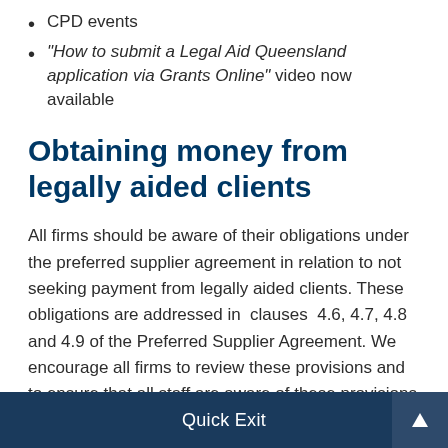CPD events
“How to submit a Legal Aid Queensland application via Grants Online” video now available
Obtaining money from legally aided clients
All firms should be aware of their obligations under the preferred supplier agreement in relation to not seeking payment from legally aided clients. These obligations are addressed in clauses 4.6, 4.7, 4.8 and 4.9 of the Preferred Supplier Agreement. We encourage all firms to review these provisions and to ensure that all staff are aware of these provisions and that your office has in place internal procedures to address the situation
Quick Exit